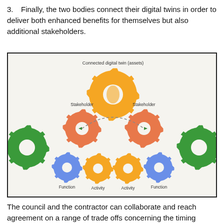3. Finally, the two bodies connect their digital twins in order to deliver both enhanced benefits for themselves but also additional stakeholders.
[Figure (infographic): Diagram showing interconnected gear icons representing a connected digital twin system. At the top is a large yellow gear labeled 'Connected digital twin (assets)'. Below it on left and right are orange gears labeled 'Stakeholder'. Connected by dashed arcs. Below each stakeholder gear are smaller gears: blue gear labeled 'Function', orange gear labeled 'Activity'. On far left and far right are large green gears labeled 'Benefit'.]
The council and the contractor can collaborate and reach agreement on a range of trade offs concerning the timing